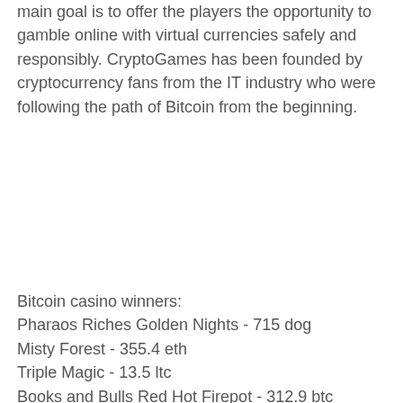main goal is to offer the players the opportunity to gamble online with virtual currencies safely and responsibly. CryptoGames has been founded by cryptocurrency fans from the IT industry who were following the path of Bitcoin from the beginning.
Bitcoin casino winners:
Pharaos Riches Golden Nights - 715 dog
Misty Forest - 355.4 eth
Triple Magic - 13.5 ltc
Books and Bulls Red Hot Firepot - 312.9 btc
Jack Hammer - 198.6 usdt
Wild Wild West: The Great Train Heist - 108.1 eth
The Smart Rabbit - 282.8 bch
Mighty Dragon - 671.8 eth
Fancy Fruits Red Hot Firepot - 100.2 ltc
Fantastic Fruit - 252.2 bch
Magic Stone - 157.8 eth
Four Guardians - 668.1 usdt